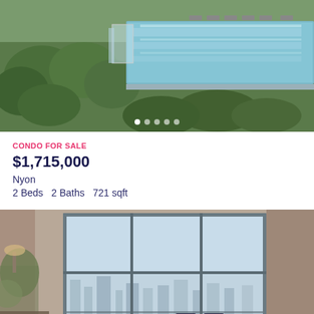[Figure (photo): Aerial view of rooftop infinity pool surrounded by lush greenery with lounge chairs]
CONDO FOR SALE
$1,715,000
Nyon
2 Beds  2 Baths  721 sqft
[Figure (photo): Interior living room with large floor-to-ceiling windows overlooking city skyline, with sofa and plants]